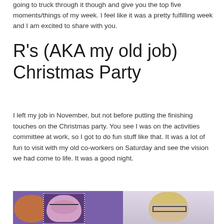going to truck through it though and give you the top five moments/things of my week. I feel like it was a pretty fulfilling week and I am excited to share with you.
R's (AKA my old job) Christmas Party
I left my job in November, but not before putting the finishing touches on the Christmas party. You see I was on the activities committee at work, so I got to do fun stuff like that. It was a lot of fun to visit with my old co-workers on Saturday and see the vision we had come to life. It was a good night.
[Figure (photo): Two photos side by side: on the left, a woman with glasses at what appears to be a purple-lit Christmas party event, partially overlaid with a dotted stamp-style frame; on the right, a blonde woman with glasses in a lighter setting.]